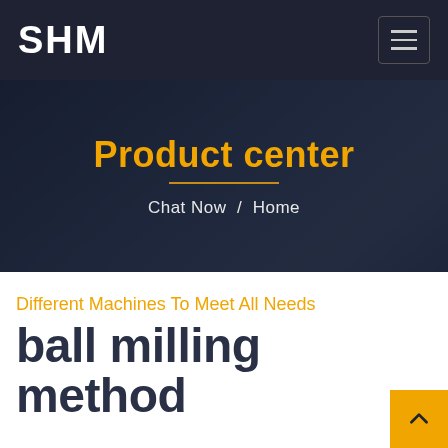SHM
Product center
Chat Now / Home
Different Machines To Meet All Needs
ball milling method